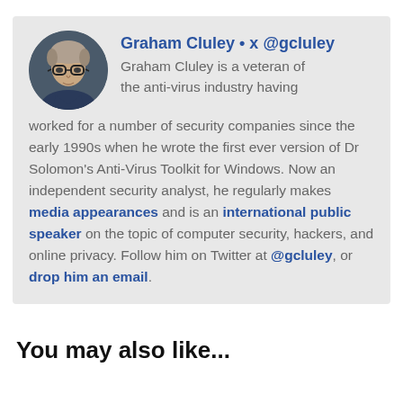[Figure (photo): Circular avatar photo of Graham Cluley, a man with glasses and light hair, wearing a dark jacket.]
Graham Cluley • @gcluley
Graham Cluley is a veteran of the anti-virus industry having worked for a number of security companies since the early 1990s when he wrote the first ever version of Dr Solomon's Anti-Virus Toolkit for Windows. Now an independent security analyst, he regularly makes media appearances and is an international public speaker on the topic of computer security, hackers, and online privacy. Follow him on Twitter at @gcluley, or drop him an email.
You may also like...